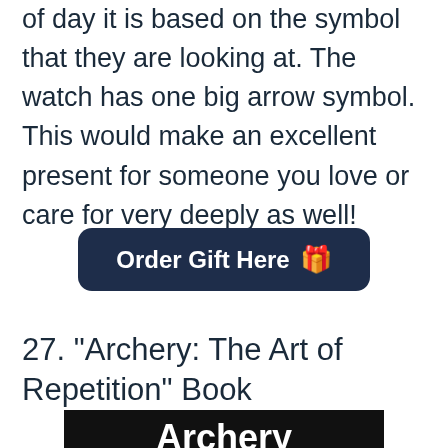of day it is based on the symbol that they are looking at. The watch has one big arrow symbol. This would make an excellent present for someone you love or care for very deeply as well!
Order Gift Here 🎁
27. "Archery: The Art of Repetition" Book
[Figure (photo): Book cover for 'Archery: The Art of Repetition' showing bold white text on black background with a photo of a person below]